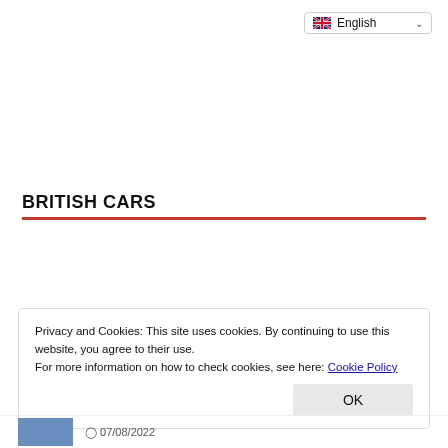[Figure (screenshot): Language selector dropdown showing English with UK flag]
BRITISH CARS
[Figure (logo): Row of British car brand logos: Aston Martin, Jaguar, Land Rover, Mini, Rolls-Royce]
Privacy and Cookies: This site uses cookies. By continuing to use this website, you agree to their use.
For more information on how to check cookies, see here: Cookie Policy
07/08/2022